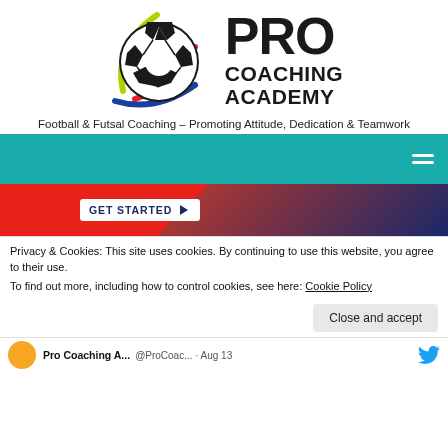[Figure (logo): Pro Coaching Academy logo — soccer ball with colorful arc lines (yellow-green, red, blue) and bold text PRO COACHING ACADEMY]
Football & Futsal Coaching – Promoting Attitude, Dedication & Teamwork
[Figure (screenshot): Teal navigation bar with hamburger menu icon on the right]
[Figure (screenshot): GET STARTED button banner with red and dark blue background]
Privacy & Cookies: This site uses cookies. By continuing to use this website, you agree to their use.
To find out more, including how to control cookies, see here: Cookie Policy
Close and accept
Pro Coaching A... @ProCoac... · Aug 13